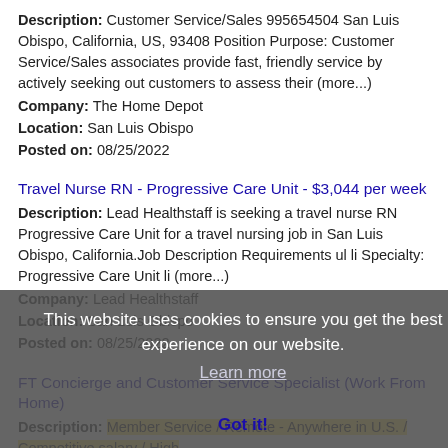Description: Customer Service/Sales 995654504 San Luis Obispo, California, US, 93408 Position Purpose: Customer Service/Sales associates provide fast, friendly service by actively seeking out customers to assess their (more...)
Company: The Home Depot
Location: San Luis Obispo
Posted on: 08/25/2022
Travel Nurse RN - Progressive Care Unit - $3,044 per week
Description: Lead Healthstaff is seeking a travel nurse RN Progressive Care Unit for a travel nursing job in San Luis Obispo, California.Job Description Requirements ul li Specialty: Progressive Care Unit li (more...)
Company: Lead Healthstaff
Location: San Luis Obispo
Posted on: 08/25/2022
FT Concierge and Customer Service Specialist (Work From Home)
Description: Member Service / Remote - Anywhere in U.S. / Competitive salary / High
Company: Velocity Black
Location: San Luis Obispo
Posted on: 08/25/2022